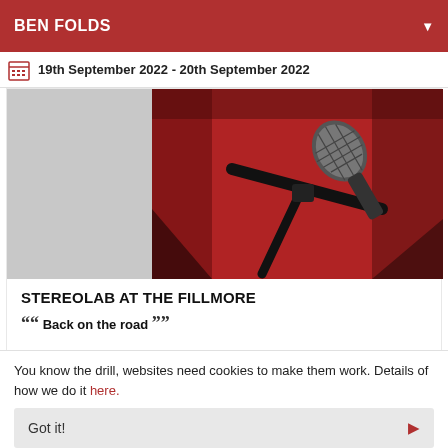BEN FOLDS
19th September 2022 - 20th September 2022
[Figure (photo): A microphone on a stand against a red background, partially split with a grey placeholder area on the left.]
STEREOLAB AT THE FILLMORE
““ Back on the road ””
You know the drill, websites need cookies to make them work. Details of how we do it here.
Got it!